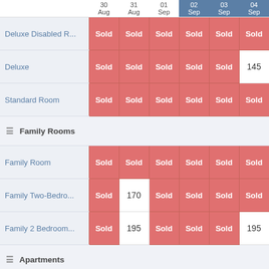|  | 30 Aug | 31 Aug | 01 Sep | 02 Sep | 03 Sep | 04 Sep |
| --- | --- | --- | --- | --- | --- | --- |
| Deluxe Disabled R... | Sold | Sold | Sold | Sold | Sold | Sold |
| Deluxe | Sold | Sold | Sold | Sold | Sold | 145 |
| Standard Room | Sold | Sold | Sold | Sold | Sold | Sold |
| Family Rooms |  |  |  |  |  |  |
| Family Room | Sold | Sold | Sold | Sold | Sold | Sold |
| Family Two-Bedro... | Sold | 170 | Sold | Sold | Sold | Sold |
| Family 2 Bedroom... | Sold | 195 | Sold | Sold | Sold | 195 |
| Apartments |  |  |  |  |  |  |
| 2 Bedroom Apart... | Sold | Sold | Sold | Sold | Sold | Sold |
| 3 Bedroom Apart... | Sold | Sold | Sold | Sold | Sold | Sold |
| Suites |  |  |  |  |  |  |